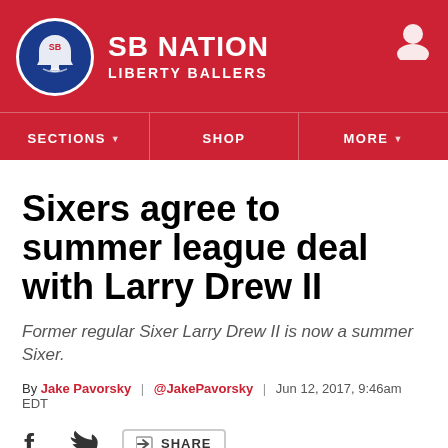SB NATION — LIBERTY BALLERS
Sixers agree to summer league deal with Larry Drew II
Former regular Sixer Larry Drew II is now a summer Sixer.
By Jake Pavorsky | @JakePavorsky | Jun 12, 2017, 9:46am EDT